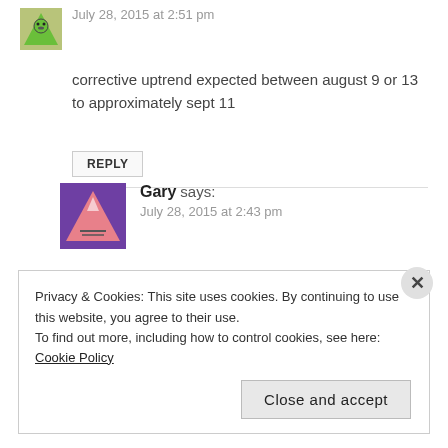July 28, 2015 at 2:51 pm
corrective uptrend expected between august 9 or 13 to approximately sept 11
REPLY
Gary says:
July 28, 2015 at 2:43 pm
But you’re still looking for ATH’s, right Peggy?
Privacy & Cookies: This site uses cookies. By continuing to use this website, you agree to their use.
To find out more, including how to control cookies, see here: Cookie Policy
Close and accept